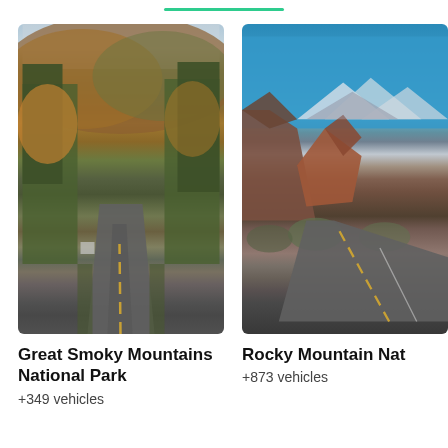[Figure (photo): Road through autumn-colored trees leading into Great Smoky Mountains National Park]
Great Smoky Mountains National Park
+349 vehicles
[Figure (photo): Road through rocky canyon with blue sky and snow-capped mountains, Rocky Mountain National Park]
Rocky Mountain Nat
+873 vehicles